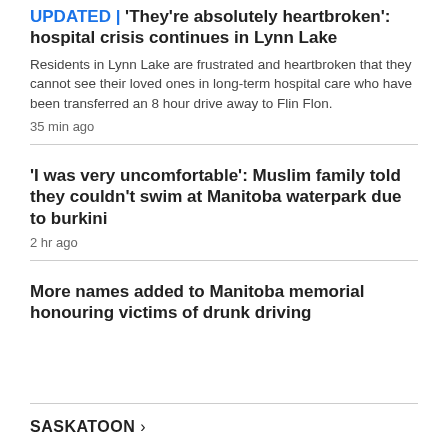UPDATED | 'They're absolutely heartbroken': hospital crisis continues in Lynn Lake
Residents in Lynn Lake are frustrated and heartbroken that they cannot see their loved ones in long-term hospital care who have been transferred an 8 hour drive away to Flin Flon.
35 min ago
'I was very uncomfortable': Muslim family told they couldn't swim at Manitoba waterpark due to burkini
2 hr ago
More names added to Manitoba memorial honouring victims of drunk driving
SASKATOON >